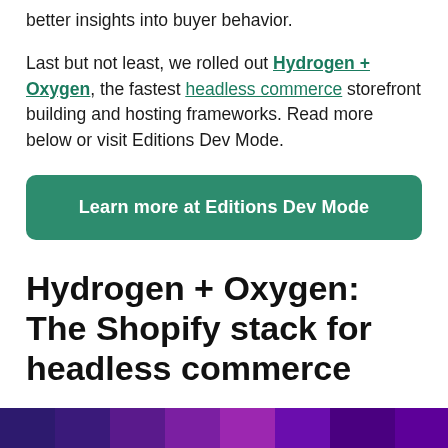better insights into buyer behavior.
Last but not least, we rolled out Hydrogen + Oxygen, the fastest headless commerce storefront building and hosting frameworks. Read more below or visit Editions Dev Mode.
Learn more at Editions Dev Mode
Hydrogen + Oxygen: The Shopify stack for headless commerce
[Figure (other): Dark purple and violet gradient banner strip at the bottom of the page]